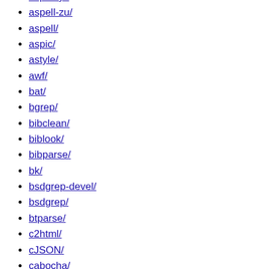aspell-yi/
aspell-zu/
aspell/
aspic/
astyle/
awf/
bat/
bgrep/
bibclean/
biblook/
bibparse/
bk/
bsdgrep-devel/
bsdgrep/
btparse/
c2html/
cJSON/
cabocha/
catdoc-tk/
catdoc/
cawf/
cdif/
chasen-base/
chasen/
chase/